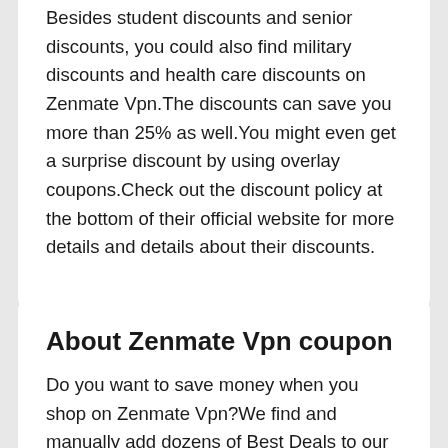Besides student discounts and senior discounts, you could also find military discounts and health care discounts on Zenmate Vpn.The discounts can save you more than 25% as well.You might even get a surprise discount by using overlay coupons.Check out the discount policy at the bottom of their official website for more details and details about their discounts.
About Zenmate Vpn coupon
Do you want to save money when you shop on Zenmate Vpn?We find and manually add dozens of Best Deals to our website every day, which is a great benefit to you.